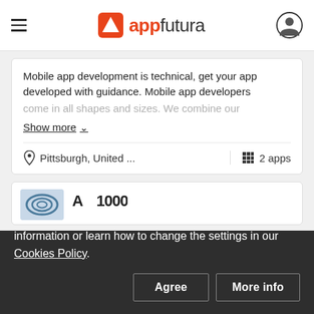appfutura
Mobile app development is technical, get your app developed with guidance. Mobile app developers come in all shapes and sizes. We combine our
Show more
Pittsburgh, United ...   2 apps
[Figure (logo): Partial logo of a company in a card below]
We use Cookies to improve and perform a navigation analysis on the website. If you continue browsing, we understand you are accepting its use. You can get more information or learn how to change the settings in our Cookies Policy.
Agree   More info